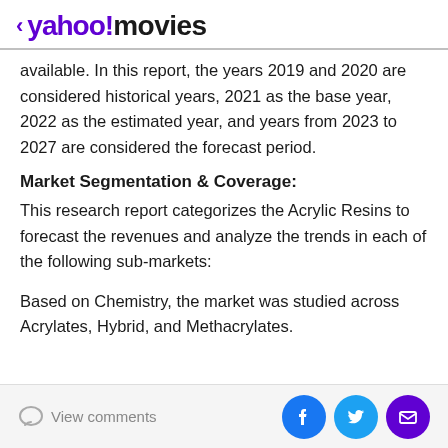< yahoo!movies
available. In this report, the years 2019 and 2020 are considered historical years, 2021 as the base year, 2022 as the estimated year, and years from 2023 to 2027 are considered the forecast period.
Market Segmentation & Coverage:
This research report categorizes the Acrylic Resins to forecast the revenues and analyze the trends in each of the following sub-markets:
Based on Chemistry, the market was studied across Acrylates, Hybrid, and Methacrylates.
View comments